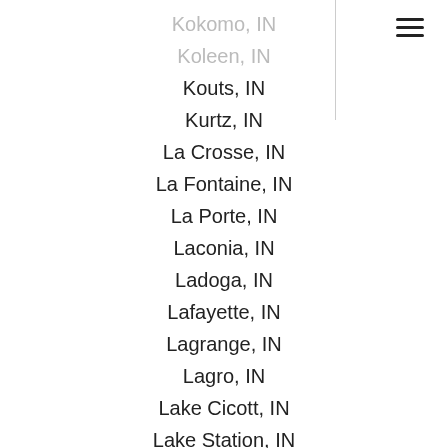Kokomo, IN
Koleen, IN
Kouts, IN
Kurtz, IN
La Crosse, IN
La Fontaine, IN
La Porte, IN
Laconia, IN
Ladoga, IN
Lafayette, IN
Lagrange, IN
Lagro, IN
Lake Cicott, IN
Lake Station, IN
Lake Village, IN
Laketon, IN